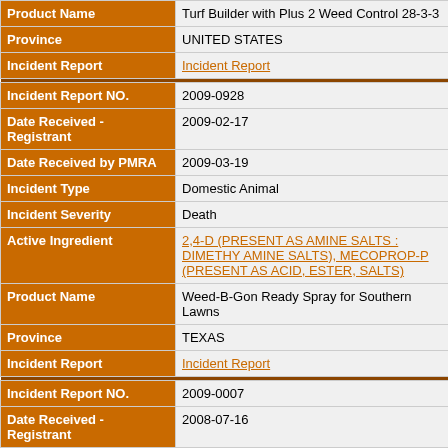| Field | Value |
| --- | --- |
| Product Name | Turf Builder with Plus 2 Weed Control 28-3-3 |
| Province | UNITED STATES |
| Incident Report | Incident Report |
| DIVIDER |  |
| Incident Report NO. | 2009-0928 |
| Date Received - Registrant | 2009-02-17 |
| Date Received by PMRA | 2009-03-19 |
| Incident Type | Domestic Animal |
| Incident Severity | Death |
| Active Ingredient | 2,4-D (PRESENT AS AMINE SALTS : DIMETHYLAMINE SALTS), MECOPROP-P (PRESENT AS ACID, ESTER, SALTS) |
| Product Name | Weed-B-Gon Ready Spray for Southern Lawns |
| Province | TEXAS |
| Incident Report | Incident Report |
| DIVIDER |  |
| Incident Report NO. | 2009-0007 |
| Date Received - Registrant | 2008-07-16 |
| Date Received by PMRA | 2008-12-29 |
| Incident Type | Human |
| Incident Severity | Minor |
| Active Ingredient | 2,4-D (PRESENT AS AMINE SALTS : DIMETHYLAMINE SALTS), MECOPROP-P (PRESENT AS ACID, ESTER, SALTS) |